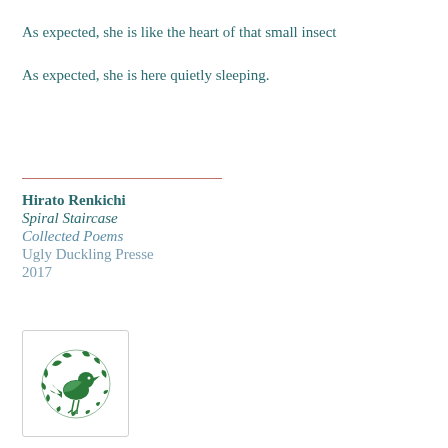As expected, she is like the heart of that small insect
As expected, she is here quietly sleeping.
Hirato Renkichi
Spiral Staircase
Collected Poems
Ugly Duckling Presse
2017
[Figure (logo): Green duck/bird logo for Ugly Duckling Presse publisher inside a light-bordered square box]